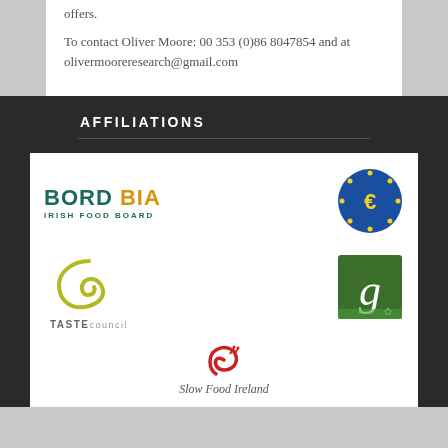offers.
To contact Oliver Moore: 00 353 (0)86 8047854 and at olivermooreresearch@gmail.com
AFFILIATIONS
[Figure (logo): Bord Bia Irish Food Board logo (teal/green text with orange highlight)]
[Figure (logo): Euro Toques circular logo (blue circle with yellow stars and chef hat symbol)]
[Figure (logo): Taste Council logo (olive/gold swirl graphic with TASTEcouncil text)]
[Figure (logo): Green square logo with cursive letter g and shamrock]
[Figure (logo): Slow Food Ireland snail logo (red spiral snail icon)]
Slow Food Ireland